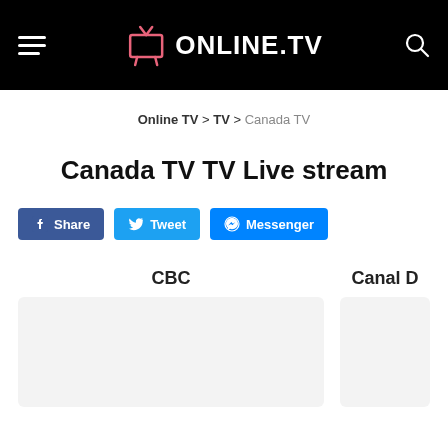ONLINE.TV
Online TV > TV > Canada TV
Canada TV TV Live stream
Share
Tweet
Messenger
CBC
Canal D
[Figure (other): CBC channel thumbnail placeholder]
[Figure (other): Canal D channel thumbnail placeholder (partial)]